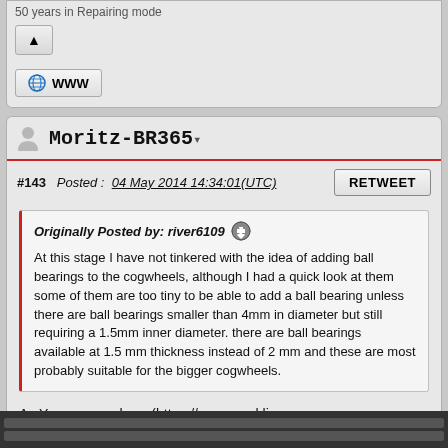50 years in Repairing mode
WWW
Moritz-BR365
#143  Posted :  04 May 2014 14:34:01(UTC)
RETWEET
Originally Posted by: river6109
At this stage I have not tinkered with the idea of adding ball bearings to the cogwheels, although I had a quick look at them some of them are too tiny to be able to add a ball bearing unless there are ball bearings smaller than 4mm in diameter but still requiring a 1.5mm inner diameter. there are ball bearings available at 1.5 mm thickness instead of 2 mm and these are most probably suitable for the bigger cogwheels.
As You can see here (https://www.marklin-users.net/forum/yaf_postsm452055_there-is-a-way-of-improving-parts--motor-shield.aspx#post452055) I have already tried to mount ball bearings to the gears.
[Figure (other): UserPostedImage placeholder icon]